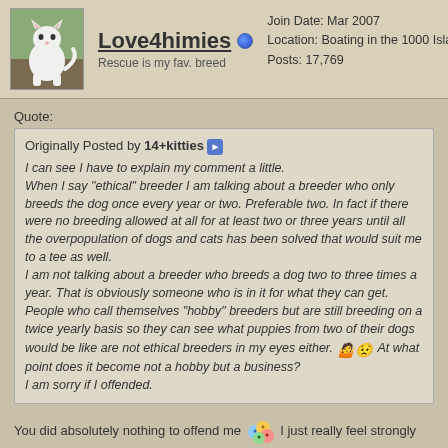[Figure (photo): White cat standing outdoors, used as forum avatar]
Love4himies (online indicator) Join Date: Mar 2007 Location: Boating in the 1000 Islands Posts: 17,769 Rescue is my fav. breed
Quote:
Originally Posted by 14+kitties [arrow] I can see I have to explain my comment a little. When I say "ethical" breeder I am talking about a breeder who only breeds the dog once every year or two. Preferable two. In fact if there were no breeding allowed at all for at least two or three years until all the overpopulation of dogs and cats has been solved that would suit me to a tee as well. I am not talking about a breeder who breeds a dog two to three times a year. That is obviously someone who is in it for what they can get. People who call themselves "hobby" breeders but are still breeding on a twice yearly basis so they can see what puppies from two of their dogs would be like are not ethical breeders in my eyes either. [emoji] At what point does it become not a hobby but a business? I am sorry if I offended.
You did absolutely nothing to offend me [emoji] I just really feel strongly about breeding while dogs and cats are being euthanized.